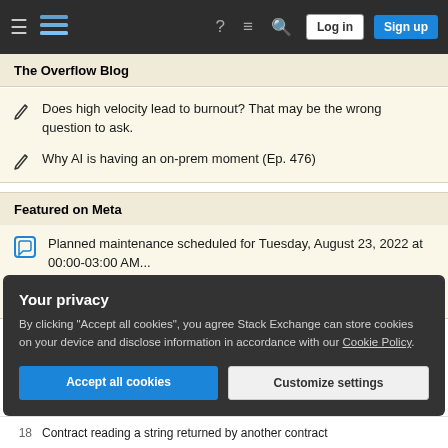Stack Exchange navigation bar with Log in and Sign up buttons
The Overflow Blog
Does high velocity lead to burnout? That may be the wrong question to ask.
Why AI is having an on-prem moment (Ep. 476)
Featured on Meta
Planned maintenance scheduled for Tuesday, August 23, 2022 at 00:00-03:00 AM...
Please welcome Valued Associate #1301 - Emerson
Your privacy
By clicking "Accept all cookies", you agree Stack Exchange can store cookies on your device and disclose information in accordance with our Cookie Policy.
Accept all cookies
Customize settings
18  Contract reading a string returned by another contract